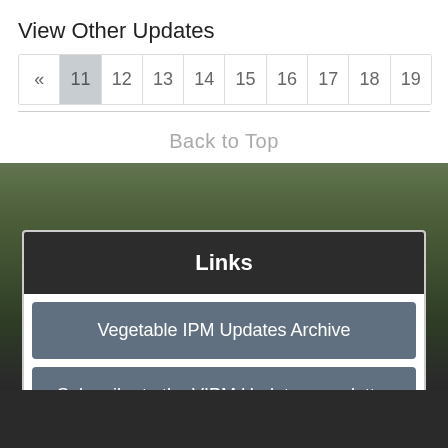View Other Updates
« 11 12 13 14 15 16 17 18 19
Back to Top
Links
Vegetable IPM Updates Archive
Subscribe to the VIPM Update news letter